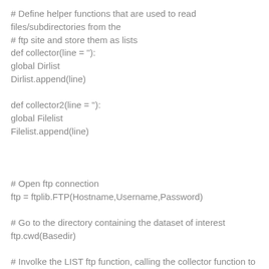# Define helper functions that are used to read files/subdirectories from the
# ftp site and store them as lists
def collector(line = ''):
global Dirlist
Dirlist.append(line)

def collector2(line = ''):
global Filelist
Filelist.append(line)



# Open ftp connection
ftp = ftplib.FTP(Hostname,Username,Password)

# Go to the directory containing the dataset of interest
ftp.cwd(Basedir)

# Involke the LIST ftp function, calling the collector function to store the
# results to Dirlist in list format